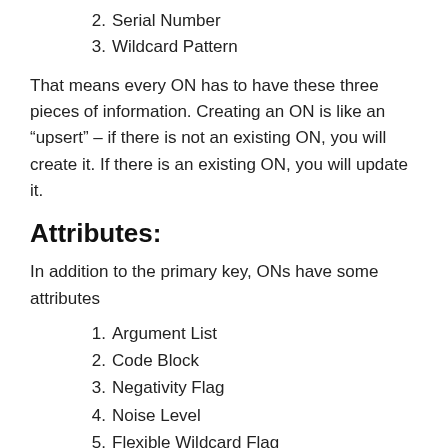2. Serial Number
3. Wildcard Pattern
That means every ON has to have these three pieces of information. Creating an ON is like an “upsert” – if there is not an existing ON, you will create it. If there is an existing ON, you will update it.
Attributes:
In addition to the primary key, ONs have some attributes
1. Argument List
2. Code Block
3. Negativity Flag
4. Noise Level
5. Flexible Wildcard Flag
6. Global Unique Serial Number
7. Skip Flag
8. Filename